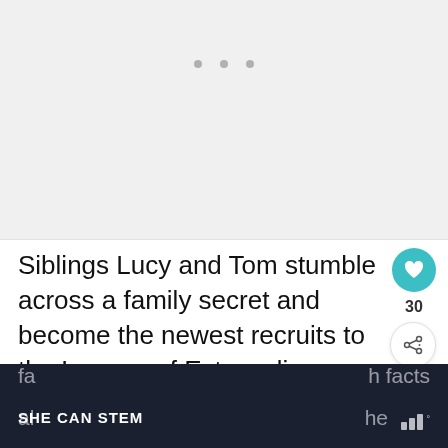[Figure (photo): Large image placeholder area (light grey) with three small grey dots near top center, indicating a loading or placeholder image region.]
Siblings Lucy and Tom stumble across a family secret and become the newest recruits to the League of Extraordinary Travellers. When the Eiffel Tower they step in to help and adventure ensues. A
[Figure (screenshot): What's Next thumbnail panel showing a small travel/children's book image with label 'WHAT'S NEXT →' and text 'Mini Travellers Children's...']
fa... h facts al... he SHE CAN STEM